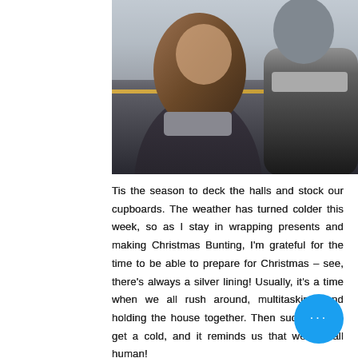[Figure (photo): Photo of two people in winter clothing (dark coats and scarves) standing close together, partial view cropped at top]
Tis the season to deck the halls and stock our cupboards. The weather has turned colder this week, so as I stay in wrapping presents and making Christmas Bunting, I'm grateful for the time to be able to prepare for Christmas – see, there's always a silver lining! Usually, it's a time when we all rush around, multitasking, and holding the house together. Then suddenly, we get a cold, and it reminds us that we are all human!
With vigilance around COVID-19 always on our minds, it's easy to forget the more hard-wearing of the colds that can hit us...